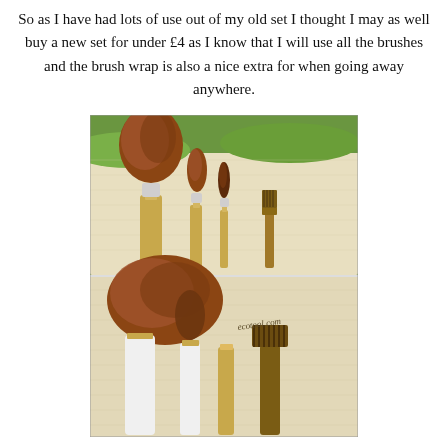So as I have had lots of use out of my old set I thought I may as well buy a new set for under £4 as I know that I will use all the brushes and the brush wrap is also a nice extra for when going away anywhere.
[Figure (photo): Two-panel photo of an EcoTools makeup brush set laid out in a cream/beige fabric brush wrap roll. Top panel shows a close-up of the brush tips (fluffy brown bristles, slim eye brushes, a comb) against a grassy background. Bottom panel shows the white handles and base of the brushes in the wrap, with 'ecotool.com' branding visible.]